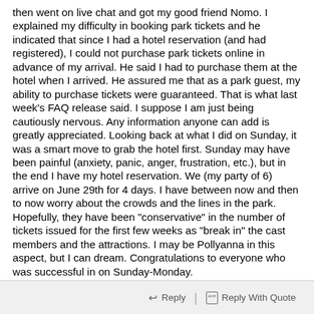then went on live chat and got my good friend Nomo. I explained my difficulty in booking park tickets and he indicated that since I had a hotel reservation (and had registered), I could not purchase park tickets online in advance of my arrival. He said I had to purchase them at the hotel when I arrived. He assured me that as a park guest, my ability to purchase tickets were guaranteed. That is what last week's FAQ release said. I suppose I am just being cautiously nervous. Any information anyone can add is greatly appreciated. Looking back at what I did on Sunday, it was a smart move to grab the hotel first. Sunday may have been painful (anxiety, panic, anger, frustration, etc.), but in the end I have my hotel reservation. We (my party of 6) arrive on June 29th for 4 days. I have between now and then to now worry about the crowds and the lines in the park. Hopefully, they have been "conservative" in the number of tickets issued for the first few weeks as "break in" the cast members and the attractions. I may be Pollyanna in this aspect, but I can dream. Congratulations to everyone who was successful in on Sunday-Monday.
Reply | Reply With Quote